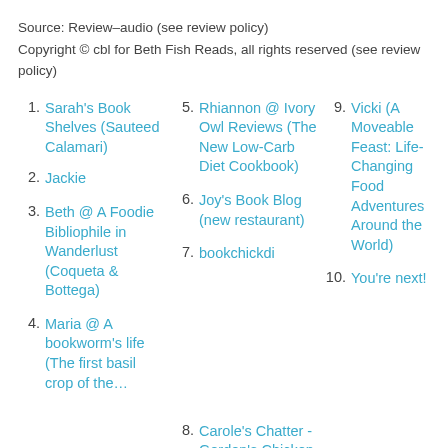Source: Review–audio (see review policy)
Copyright © cbl for Beth Fish Reads, all rights reserved (see review policy)
1. Sarah's Book Shelves (Sauteed Calamari)
2. Jackie
3. Beth @ A Foodie Bibliophile in Wanderlust (Coqueta & Bottega)
4. Maria @ A bookworm's life (The first basil crop of the…
5. Rhiannon @ Ivory Owl Reviews (The New Low-Carb Diet Cookbook)
6. Joy's Book Blog (new restaurant)
7. bookchickdi
8. Carole's Chatter - Gordon's Chicken Wings
9. Vicki (A Moveable Feast: Life-Changing Food Adventures Around the World)
10. You're next!